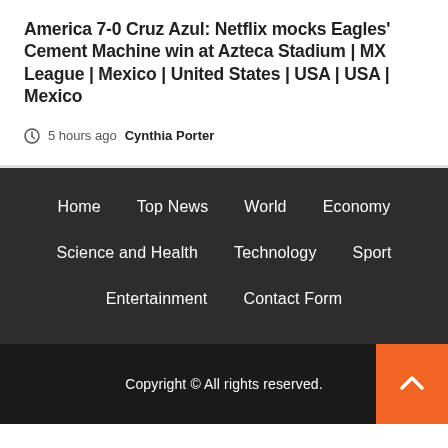America 7-0 Cruz Azul: Netflix mocks Eagles' Cement Machine win at Azteca Stadium | MX League | Mexico | United States | USA | USA | Mexico
5 hours ago  Cynthia Porter
Home
Top News
World
Economy
Science and Health
Technology
Sport
Entertainment
Contact Form
Copyright © All rights reserved.